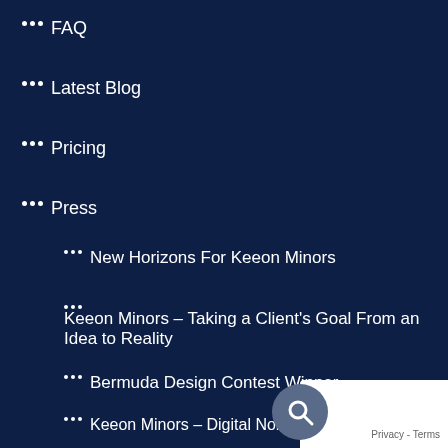FAQ
Latest Blog
Pricing
Press
New Horizons For Keeon Minors
Keeon Minors – Taking a Client's Goal From an Idea to Reality
Bermuda Design Contest Winner
Keeon Minors – Digital Nomad
Sitemap